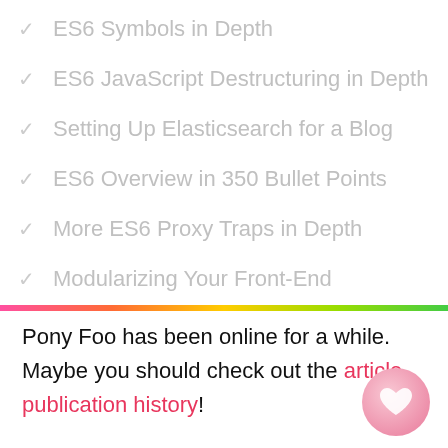ES6 Symbols in Depth
ES6 JavaScript Destructuring in Depth
Setting Up Elasticsearch for a Blog
ES6 Overview in 350 Bullet Points
More ES6 Proxy Traps in Depth
Modularizing Your Front-End
Pony Foo has been online for a while. Maybe you should check out the article publication history!